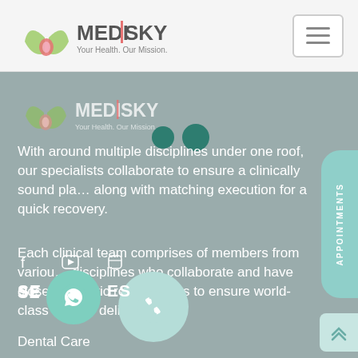[Figure (logo): MediSky logo with tagline 'Your Health. Our Mission.' in header]
[Figure (logo): MediSky logo with tagline 'Your Health. Our Mission.' in main content area]
With around multiple disciplines under one roof, our specialists collaborate to ensure a clinically sound plan along with matching execution for a quick recovery.
Each clinical team comprises of members from various disciplines who collaborate and have close symbiotic relationships to ensure world-class service delivery.
SERVICES
Dental Care